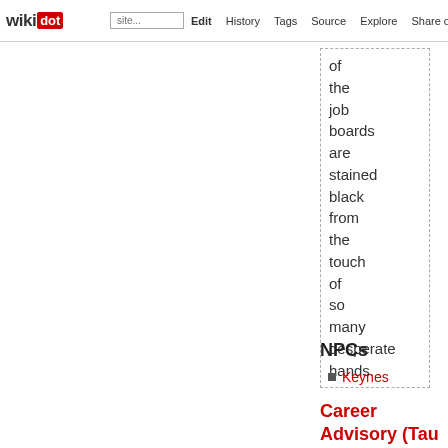wikidot | Edit | History | Tags | Source | Explore | Share on [Twitter]
of the job boards are stained black from the touch of so many desperate hands.
NPCs
Keynes
Career Advisory (Tau Station